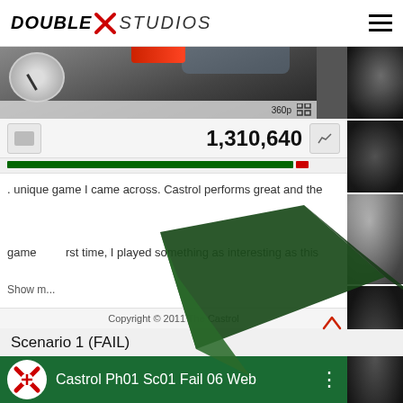DOUBLE X STUDIOS
[Figure (screenshot): Video player screenshot showing car dashboard/speedometer view from inside a vehicle]
1,310,640
[Figure (infographic): Green and red progress/rating bar]
. unique game I came across. Castrol performs great and the
game [obscured] rst time, I played something as interesting as this
Show m...
Copyright © 2011 The Castrol
Scenario 1 (FAIL)
[Figure (screenshot): Green video list item showing 'Castrol Ph01 Sc01 Fail 06 Web' with Double X Studios logo icon]
[Figure (photo): Dark night photo thumbnail]
[Figure (photo): Dark interior photo thumbnail]
[Figure (photo): Phone/screen photo thumbnail]
[Figure (photo): Dark artistic photo thumbnail]